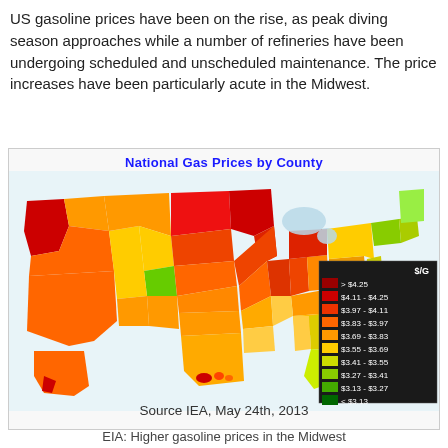US gasoline prices have been on the rise, as peak diving season approaches while a number of refineries have been undergoing scheduled and unscheduled maintenance. The price increases have been particularly acute in the Midwest.
[Figure (map): Choropleth map of National Gas Prices by County across the contiguous United States, Alaska, and Hawaii. Color scale from dark green (< $3.13/gallon) to dark red (> $4.25/gallon). The Midwest and Pacific Northwest show the highest prices (red/dark red). The Southeast and some eastern counties show lower prices (green). Source IEA, May 24th, 2013.]
Source IEA, May 24th, 2013
EIA: Higher gasoline prices in the Midwest